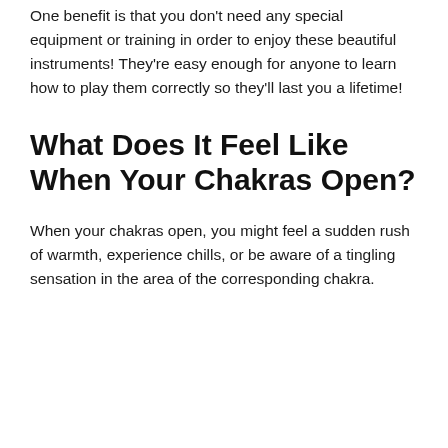One benefit is that you don't need any special equipment or training in order to enjoy these beautiful instruments! They're easy enough for anyone to learn how to play them correctly so they'll last you a lifetime!
What Does It Feel Like When Your Chakras Open?
When your chakras open, you might feel a sudden rush of warmth, experience chills, or be aware of a tingling sensation in the area of the corresponding chakra.